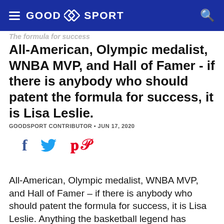GOOD SPORT
All-American, Olympic medalist, WNBA MVP, and Hall of Famer - if there is anybody who should patent the formula for success, it is Lisa Leslie.
GOODSPORT CONTRIBUTOR · JUN 17, 2020
[Figure (infographic): Social share icons: Facebook (f), Twitter (bird), Pinterest (p)]
All-American, Olympic medalist, WNBA MVP, and Hall of Famer – if there is anybody who should patent the formula for success, it is Lisa Leslie. Anything the basketball legend has touched, sure seems to turn to gold. But she says there is a lot